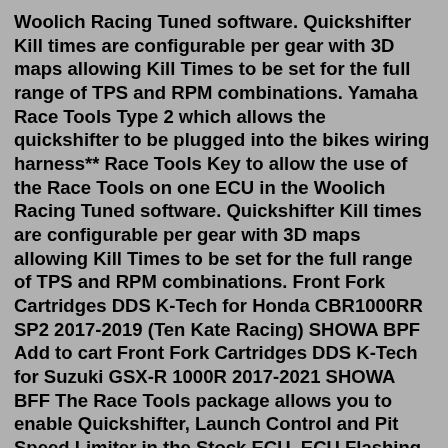Woolich Racing Tuned software. Quickshifter Kill times are configurable per gear with 3D maps allowing Kill Times to be set for the full range of TPS and RPM combinations. Yamaha Race Tools Type 2 which allows the quickshifter to be plugged into the bikes wiring harness** Race Tools Key to allow the use of the Race Tools on one ECU in the Woolich Racing Tuned software. Quickshifter Kill times are configurable per gear with 3D maps allowing Kill Times to be set for the full range of TPS and RPM combinations. Front Fork Cartridges DDS K-Tech for Honda CBR1000RR SP2 2017-2019 (Ten Kate Racing) SHOWA BPF Add to cart Front Fork Cartridges DDS K-Tech for Suzuki GSX-R 1000R 2017-2021 SHOWA BFF The Race Tools package allows you to enable Quickshifter, Launch Control and Pit Speed Limiter in the Stock ECU. ECU Flashing for the 2017-2022 Kawasaki Versys X 300 Woolich Racing Tuned (WRT) software has support for the 2017-2022 Kawasaki Versys X 300 View products and features available for Kawasaki V...